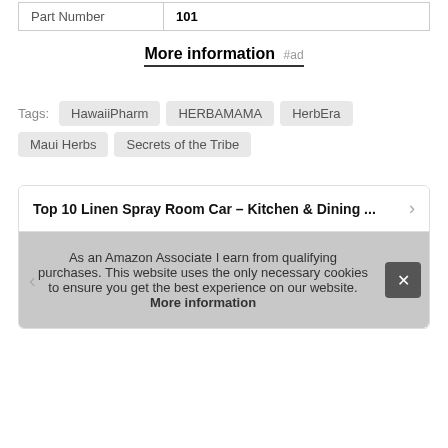| Part Number | 101 |
| --- | --- |
More information #ad
Tags: HawaiiPharm HERBAMAMA HerbEra Maui Herbs Secrets of the Tribe
Top 10 Linen Spray Room Car – Kitchen & Dining ...
As an Amazon Associate I earn from qualifying purchases. This website uses the only necessary cookies to ensure you get the best experience on our website. More information